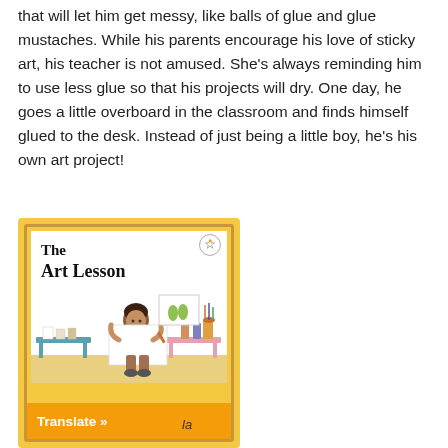Matty is a glue enthusiast and gravitates toward projects that will let him get messy, like balls of glue and glue mustaches. While his parents encourage his love of sticky art, his teacher is not amused. She's always reminding him to use less glue so that his projects will dry. One day, he goes a little overboard in the classroom and finds himself glued to the desk. Instead of just being a little boy, he's his own art project!
[Figure (illustration): Book cover of 'The Art Lesson' with yellow/gold border, showing a boy at an art desk holding a large white paper, with art supplies around him. An orange 'Translate »' button appears at the bottom of the image.]